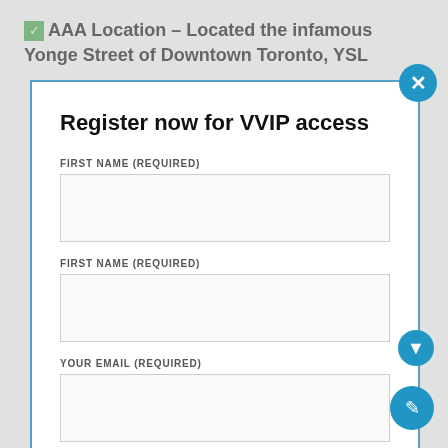✅ AAA Location – Located the infamous Yonge Street of Downtown Toronto, YSL
Register now for VVIP access
FIRST NAME (REQUIRED)
FIRST NAME (REQUIRED)
YOUR EMAIL (REQUIRED)
PHONE NUMBER (REQUIRED)
to both the College Subway Station and Dundas Subway Station & Just steps outside your door you will have access to multiple TTC Bus Routes.